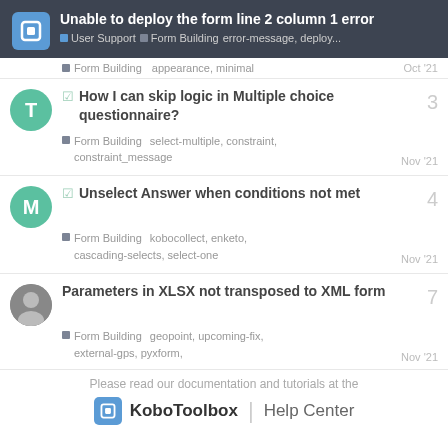Unable to deploy the form line 2 column 1 error — User Support | Form Building — error-message, deploy...
Form Building   appearance, minimal   Oct '21
How I can skip logic in Multiple choice questionnaire?
Form Building   select-multiple, constraint, constraint_message   Nov '21   3
Unselect Answer when conditions not met
Form Building   kobocollect, enketo, cascading-selects, select-one   Nov '21   4
Parameters in XLSX not transposed to XML form
Form Building   geopoint, upcoming-fix, external-gps, pyxform,   Nov '21   7
Please read our documentation and tutorials at the
KoboToolbox | Help Center